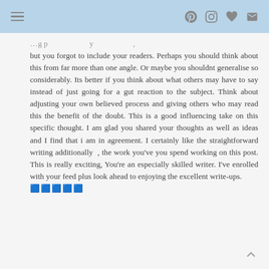[navigation bar with hamburger menu and social icons: Pinterest, Instagram, heart, envelope]
but you forgot to include your readers. Perhaps you should think about this from far more than one angle. Or maybe you shouldnt generalise so considerably. Its better if you think about what others may have to say instead of just going for a gut reaction to the subject. Think about adjusting your own believed process and giving others who may read this the benefit of the doubt. This is a good influencing take on this specific thought. I am glad you shared your thoughts as well as ideas and I find that i am in agreement. I certainly like the straightforward writing additionally , the work you've you spend working on this post. This is really exciting, You're an especially skilled writer. I've enrolled with your feed plus look ahead to enjoying the excellent write-ups. 🟦🟦🟦🟦🟦